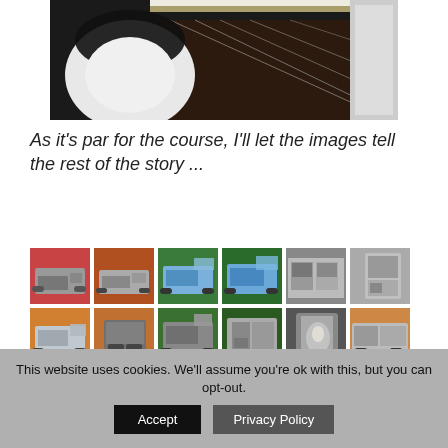[Figure (photo): Interior of a luxury campervan/vehicle showing white pod-style seats, dark wood-effect floor with metallic strip inlays, and illuminated ceiling]
As it's par for the course, I'll let the images tell the rest of the story ...
[Figure (photo): Grid of thumbnail photos showing various campervans and motorhomes at what appears to be a motor show or exhibition. Two rows of six thumbnails each showing vehicles from various angles including exterior and interior shots.]
This website uses cookies. We'll assume you're ok with this, but you can opt-out.
Accept
Privacy Policy